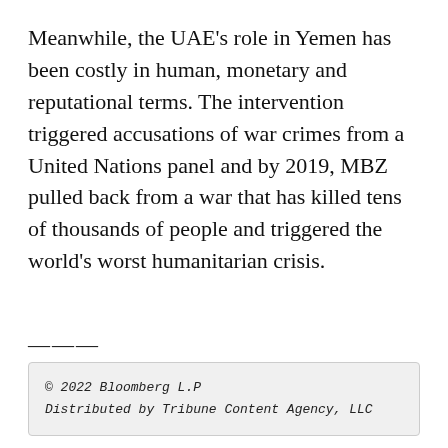Meanwhile, the UAE's role in Yemen has been costly in human, monetary and reputational terms. The intervention triggered accusations of war crimes from a United Nations panel and by 2019, MBZ pulled back from a war that has killed tens of thousands of people and triggered the world's worst humanitarian crisis.
———
© 2022 Bloomberg L.P
Distributed by Tribune Content Agency, LLC